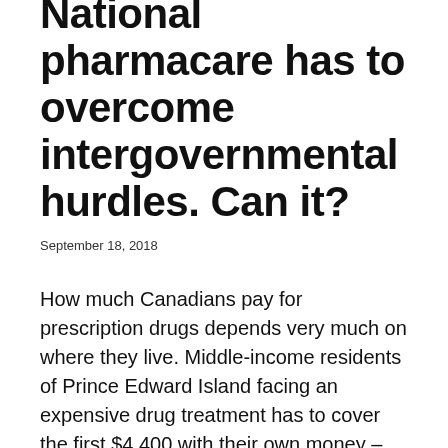National pharmacare has to overcome intergovernmental hurdles. Can it?
September 18, 2018
How much Canadians pay for prescription drugs depends very much on where they live. Middle-income residents of Prince Edward Island facing an expensive drug treatment has to cover the first $4,400 with their own money – then their provincial pharmacare program pays for the rest.